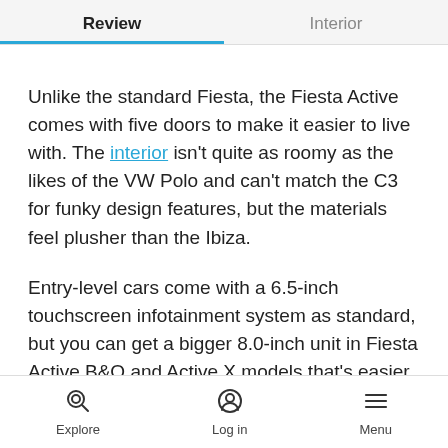Review | Interior
Unlike the standard Fiesta, the Fiesta Active comes with five doors to make it easier to live with. The interior isn't quite as roomy as the likes of the VW Polo and can't match the C3 for funky design features, but the materials feel plusher than the Ibiza.
Entry-level cars come with a 6.5-inch touchscreen infotainment system as standard, but you can get a bigger 8.0-inch unit in Fiesta Active B&O and Active X models that's easier to read on the move. Sadly, it
Explore | Log in | Menu